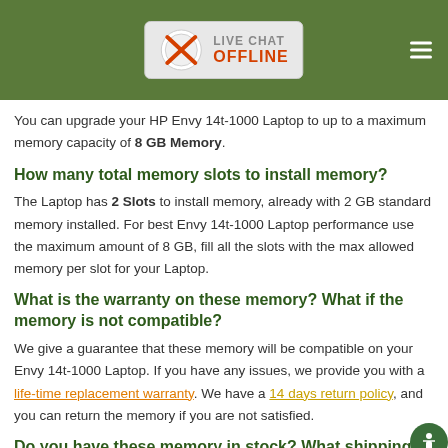LIVE CHAT OFFLINE
You can upgrade your HP Envy 14t-1000 Laptop to up to a maximum memory capacity of 8 GB Memory.
How many total memory slots to install memory?
The Laptop has 2 Slots to install memory, already with 2 GB standard memory installed. For best Envy 14t-1000 Laptop performance use the maximum amount of 8 GB, fill all the slots with the max allowed memory per slot for your Laptop.
What is the warranty on these memory? What if the memory is not compatible?
We give a guarantee that these memory will be compatible on your Envy 14t-1000 Laptop. If you have any issues, we provide you with a life-time replacement warranty. We have a 14 days return policy, and you can return the memory if you are not satisfied.
Do you have these memory in stock? What shipping